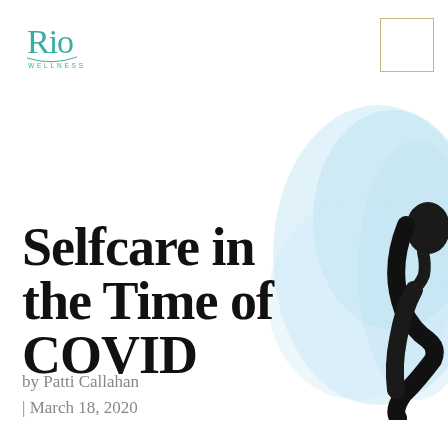[Figure (logo): Rio Wellness logo in teal cursive with 'WELLNESS' lettering below]
[Figure (illustration): Watercolor blue brushstroke background with a woman silhouette illustration on the right side of the page]
Selfcare in the Time of COVID
by Patti Callahan | March 18, 2020